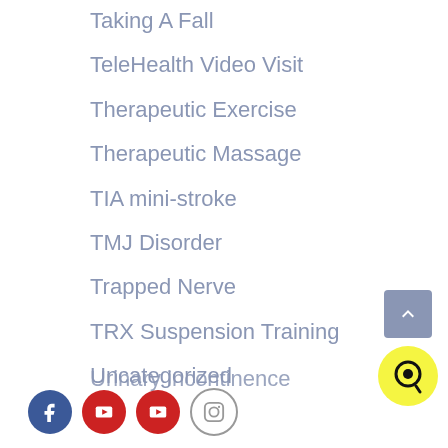Taking A Fall
TeleHealth Video Visit
Therapeutic Exercise
Therapeutic Massage
TIA mini-stroke
TMJ Disorder
Trapped Nerve
TRX Suspension Training
Uncategorized
Urinary incontinence
[Figure (other): Back to top arrow button (blue/grey square with upward chevron), chat button (yellow circle with Q icon), and social media icons row: Facebook (blue circle), two YouTube (red circles), Instagram (outline circle)]